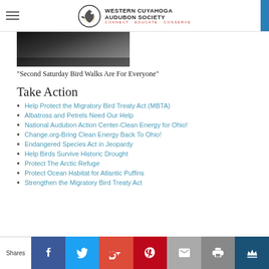Western Cuyahoga Audubon Society — Connect | Educate | Conserve
[Figure (photo): Partial image of a person writing or drawing, dark toned photo]
"Second Saturday Bird Walks Are For Everyone"
Take Action
Help Protect the Migratory Bird Treaty Act (MBTA)
Albatross and Petrels Need Our Help
National Audubon Action Center-Clean Energy for Ohio!
Change.org-Bring Clean Energy Back To Ohio!
Endangered Species Act in Jeopardy
Help Birds Survive Historic Drought
Protect The Arctic Refuge
Protect Ocean Habitat for Atlantic Puffins
Strengthen the Migratory Bird Treaty Act
Shares — Social sharing buttons: Facebook, Twitter, Google+, Pinterest, Email, Print, Crown